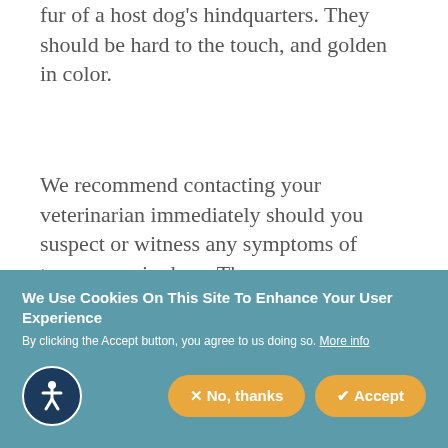fur of a host dog's hindquarters. They should be hard to the touch, and golden in color.
We recommend contacting your veterinarian immediately should you suspect or witness any symptoms of tapeworms in dogs. There are very effective forms of oral and injectible medications we can prescribe, but arresting and intervening in the early stages of an infestation greatly
We Use Cookies On This Site To Enhance Your User Experience
By clicking the Accept button, you agree to us doing so. More info
✕ No, thanks
✔ Accept